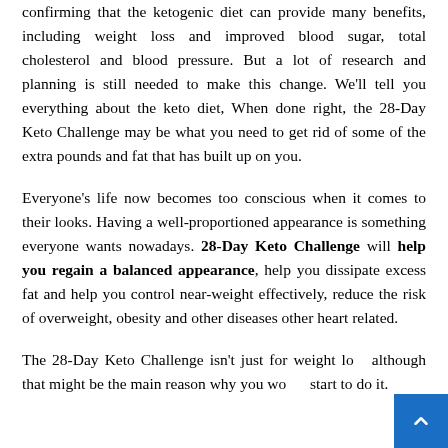confirming that the ketogenic diet can provide many benefits, including weight loss and improved blood sugar, total cholesterol and blood pressure. But a lot of research and planning is still needed to make this change. We'll tell you everything about the keto diet, When done right, the 28-Day Keto Challenge may be what you need to get rid of some of the extra pounds and fat that has built up on you.
Everyone's life now becomes too conscious when it comes to their looks. Having a well-proportioned appearance is something everyone wants nowadays. 28-Day Keto Challenge will help you regain a balanced appearance, help you dissipate excess fat and help you control near-weight effectively, reduce the risk of overweight, obesity and other diseases other heart related.
The 28-Day Keto Challenge isn't just for weight loss, although that might be the main reason why you would start to do it.